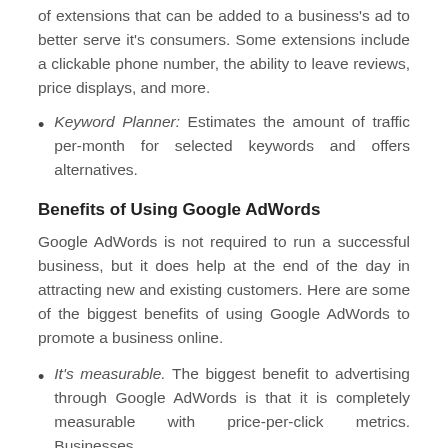of extensions that can be added to a business's ad to better serve it's consumers. Some extensions include a clickable phone number, the ability to leave reviews, price displays, and more.
Keyword Planner: Estimates the amount of traffic per-month for selected keywords and offers alternatives.
Benefits of Using Google AdWords
Google AdWords is not required to run a successful business, but it does help at the end of the day in attracting new and existing customers. Here are some of the biggest benefits of using Google AdWords to promote a business online.
It's measurable. The biggest benefit to advertising through Google AdWords is that it is completely measurable with price-per-click metrics. Businesses